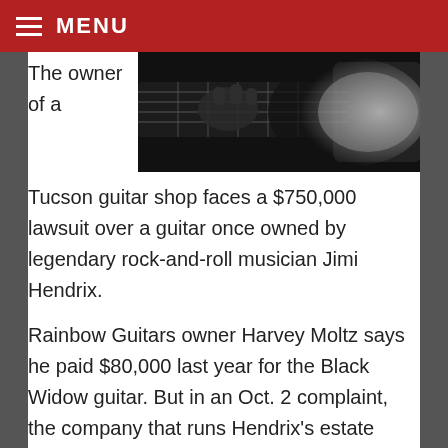MENU
[Figure (photo): Black and white close-up photo of a guitar being played, showing hands on the fretboard and neck of an electric guitar.]
The owner of a Tucson guitar shop faces a $750,000 lawsuit over a guitar once owned by legendary rock-and-roll musician Jimi Hendrix.
Rainbow Guitars owner Harvey Moltz says he paid $80,000 last year for the Black Widow guitar. But in an Oct. 2 complaint, the company that runs Hendrix's estate claimed Moltz is not the rightful owner of the guitar and asked a Pima County Superior Court judge to direct him to return the guitar and pay damages.